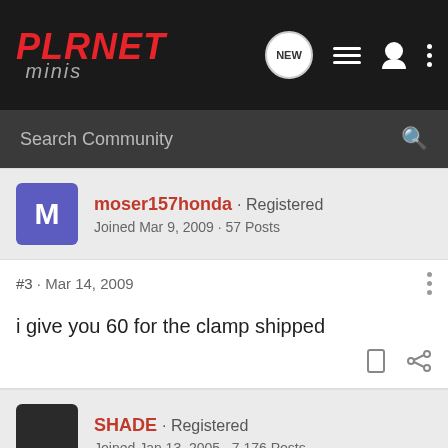[Figure (logo): Planet Minis forum logo in red italic bold text with navigation icons]
Search Community
moser157honda · Registered
Joined Mar 9, 2009 · 57 Posts
#3 · Mar 14, 2009
i give you 60 for the clamp shipped
SHADE · Registered
Joined Jan 13, 2005 · 7,176 Posts